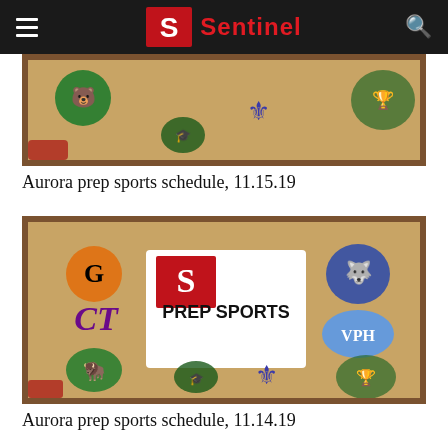Sentinel
[Figure (photo): Cork board with various school sports team logos/stickers (partially cropped), representing Aurora prep sports]
Aurora prep sports schedule, 11.15.19
[Figure (photo): Cork board with various school sports team logos/stickers including Sentinel Prep Sports logo in the center, with team mascots like a bear (G), Huskies, CT, VPR, and others arranged around it]
Aurora prep sports schedule, 11.14.19